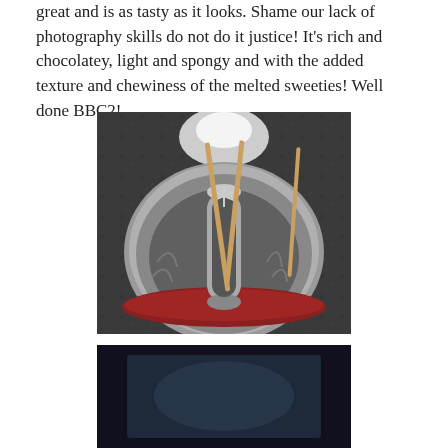great and is as tasty as it looks. Shame our lack of photography skills do not do it justice! It's rich and chocolatey, light and spongy and with the added texture and chewiness of the melted sweeties! Well done BBC2!
[Figure (photo): A round metal bundt cake tin viewed from above on a dark granite countertop. A cylindrical metal tube sits in the center of the tin, with wooden skewers or sticks propped around it.]
[Figure (photo): Partial view of another photo below, showing a dark background, likely another step in a baking process.]